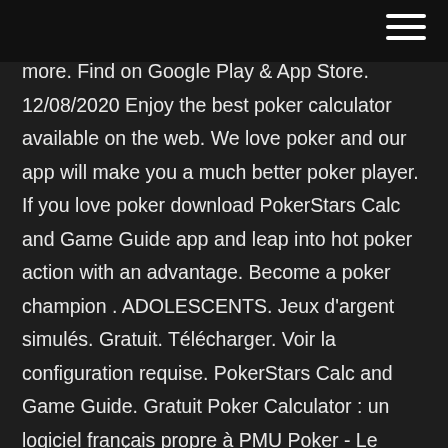more. Find on Google Play & App Store. 12/08/2020 Enjoy the best poker calculator available on the web. We love poker and our app will make you a much better poker player. If you love poker download PokerStars Calc and Game Guide app and leap into hot poker action with an advantage. Become a poker champion . ADOLESCENTS. Jeux d'argent simulés. Gratuit. Télécharger. Voir la configuration requise. PokerStars Calc and Game Guide. Gratuit Poker Calculator : un logiciel français propre à PMU Poker - Le logiciel Poker Calculator propose un certain nombre de fonctionnalités intéressantes, comme l'intégration à la table des données de Sharkscope et PokerEdge. Pour l'instant, seuls les joueurs de PMU Poker … Best Poker Odds Calculator Pokerstars industry leading